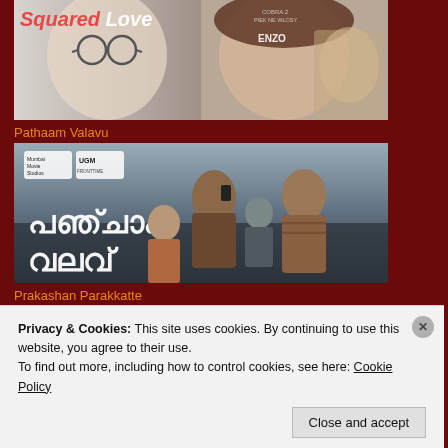[Figure (photo): Movie poster for 'Squared Love' showing two women's faces split down the middle, one with glasses and one glamorous, plus a man in suit labelled Enzo]
Pathaam Valavu
[Figure (photo): Movie poster for 'Pathaam Valavu' (Malayalam film) showing several men in a dramatic scene, with Malayalam script title text]
Prakashan Parakkatte
[Figure (photo): Movie poster for 'Prakashan Parakkatte' (Malayalam film) showing students/young people]
Privacy & Cookies: This site uses cookies. By continuing to use this website, you agree to their use.
To find out more, including how to control cookies, see here: Cookie Policy
Close and accept